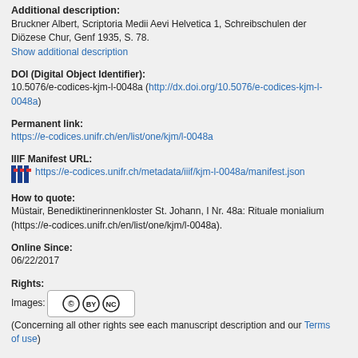Additional description:
Bruckner Albert, Scriptoria Medii Aevi Helvetica 1, Schreibschulen der Diözese Chur, Genf 1935, S. 78.
Show additional description
DOI (Digital Object Identifier):
10.5076/e-codices-kjm-l-0048a (http://dx.doi.org/10.5076/e-codices-kjm-l-0048a)
Permanent link:
https://e-codices.unifr.ch/en/list/one/kjm/l-0048a
IIIF Manifest URL:
https://e-codices.unifr.ch/metadata/iiif/kjm-l-0048a/manifest.json
How to quote:
Müstair, Benediktinerinnenkloster St. Johann, I Nr. 48a: Rituale monialium (https://e-codices.unifr.ch/en/list/one/kjm/l-0048a).
Online Since:
06/22/2017
Rights:
Images: [CC BY NC] (Concerning all other rights see each manuscript description and our Terms of use)